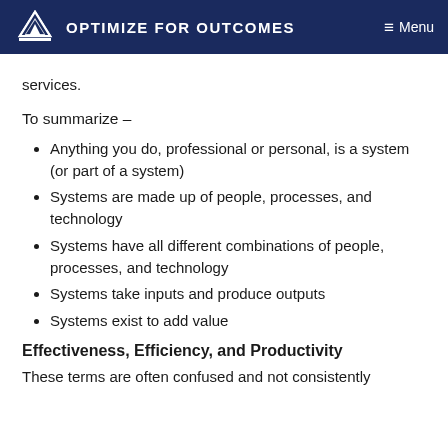OPTIMIZE FOR OUTCOMES  Menu
services.
To summarize –
Anything you do, professional or personal, is a system (or part of a system)
Systems are made up of people, processes, and technology
Systems have all different combinations of people, processes, and technology
Systems take inputs and produce outputs
Systems exist to add value
Effectiveness, Efficiency, and Productivity
These terms are often confused and not consistently